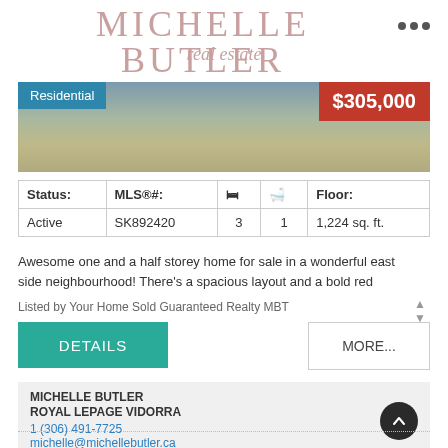MICHELLE BUTLER
real estate
[Figure (photo): Exterior photo of a residential home with green lawn and driveway. Blue label showing 'Residential' on the left and red price tag '$305,000' on the right.]
| Status: | MLS®#: | 🛏 | 🛁 | Floor: |
| --- | --- | --- | --- | --- |
| Active | SK892420 | 3 | 1 | 1,224 sq. ft. |
Awesome one and a half storey home for sale in a wonderful east side neighbourhood! There's a spacious layout and a bold red
Listed by Your Home Sold Guaranteed Realty MBT
DETAILS
MORE...
MICHELLE BUTLER
ROYAL LEPAGE VIDORRA
1 (306) 491-7725
michelle@michellebutler.ca